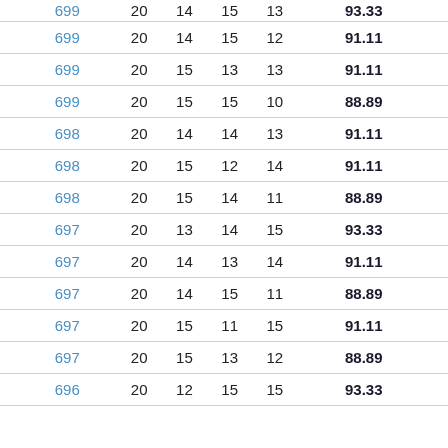| 699 | 20 | 14 | 15 | 12 | 91.11 |
| 699 | 20 | 15 | 13 | 13 | 91.11 |
| 699 | 20 | 15 | 15 | 10 | 88.89 |
| 698 | 20 | 14 | 14 | 13 | 91.11 |
| 698 | 20 | 15 | 12 | 14 | 91.11 |
| 698 | 20 | 15 | 14 | 11 | 88.89 |
| 697 | 20 | 13 | 14 | 15 | 93.33 |
| 697 | 20 | 14 | 13 | 14 | 91.11 |
| 697 | 20 | 14 | 15 | 11 | 88.89 |
| 697 | 20 | 15 | 11 | 15 | 91.11 |
| 697 | 20 | 15 | 13 | 12 | 88.89 |
| 696 | 20 | 12 | 15 | 15 | 93.33 |